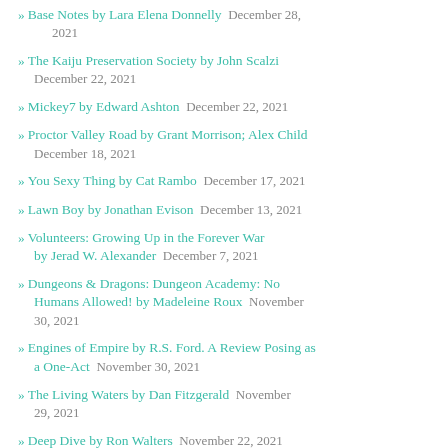Base Notes by Lara Elena Donnelly  December 28, 2021
The Kaiju Preservation Society by John Scalzi  December 22, 2021
Mickey7 by Edward Ashton  December 22, 2021
Proctor Valley Road by Grant Morrison; Alex Child  December 18, 2021
You Sexy Thing by Cat Rambo  December 17, 2021
Lawn Boy by Jonathan Evison  December 13, 2021
Volunteers: Growing Up in the Forever War by Jerad W. Alexander  December 7, 2021
Dungeons & Dragons: Dungeon Academy: No Humans Allowed! by Madeleine Roux  November 30, 2021
Engines of Empire by R.S. Ford. A Review Posing as a One-Act  November 30, 2021
The Living Waters by Dan Fitzgerald  November 29, 2021
Deep Dive by Ron Walters  November 22, 2021